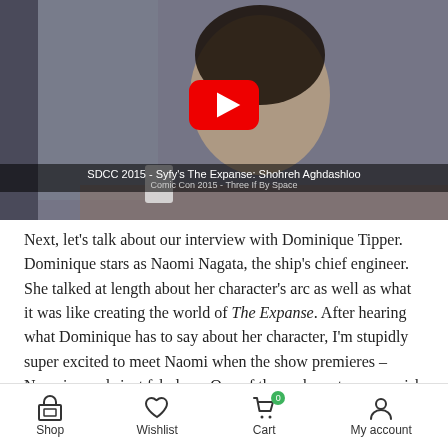[Figure (screenshot): YouTube video thumbnail showing a woman at a Comic Con press table with SDCC 2015 backdrop. A red YouTube play button is overlaid in the center. Caption bar reads: SDCC 2015 - Syfy's The Expanse: Shohreh Aghdashloo / Comic Con 2015 - Three If By Space]
Next, let's talk about our interview with Dominique Tipper. Dominique stars as Naomi Nagata, the ship's chief engineer. She talked at length about her character's arc as well as what it was like creating the world of The Expanse. After hearing what Dominique has to say about her character, I'm stupidly super excited to meet Naomi when the show premieres – Naomi sounds just fabulous. One of those characters you wish could be brought to life for really real. And (because I know you're wondering) not
Shop   Wishlist   Cart 0   My account